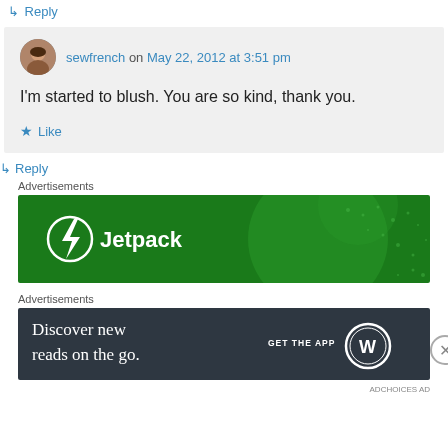↳ Reply
sewfrench on May 22, 2012 at 3:51 pm
I'm started to blush. You are so kind, thank you.
★ Like
↳ Reply
Advertisements
[Figure (illustration): Jetpack advertisement banner with green background and Jetpack logo with lightning bolt icon]
Advertisements
[Figure (illustration): WordPress advertisement banner: Discover new reads on the go. GET THE APP with WordPress logo]